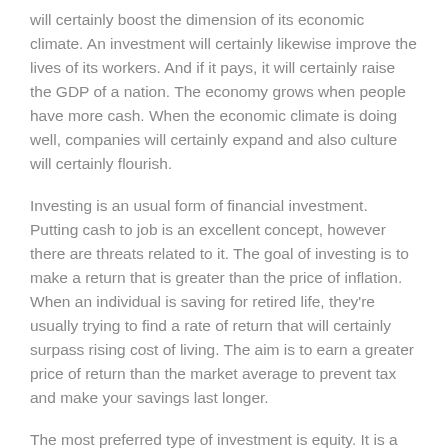will certainly boost the dimension of its economic climate. An investment will certainly likewise improve the lives of its workers. And if it pays, it will certainly raise the GDP of a nation. The economy grows when people have more cash. When the economic climate is doing well, companies will certainly expand and also culture will certainly flourish.
Investing is an usual form of financial investment. Putting cash to job is an excellent concept, however there are threats related to it. The goal of investing is to make a return that is greater than the price of inflation. When an individual is saving for retired life, they're usually trying to find a rate of return that will certainly surpass rising cost of living. The aim is to earn a greater price of return than the market average to prevent tax and make your savings last longer.
The most preferred type of investment is equity. It is a financial investment in stocks. This is a supply that is owned by a business, and also it is a form of refractory product. This kind of financial investment is